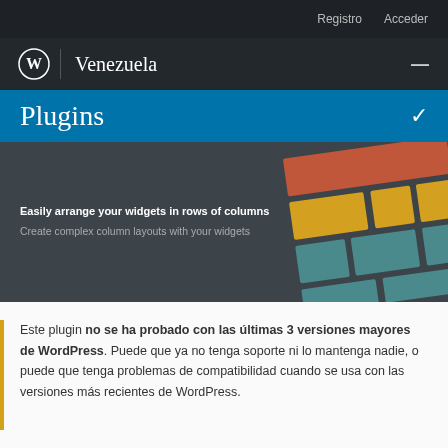Registro  Acceder
WordPress | Venezuela
Plugins
[Figure (screenshot): Widget layout plugin banner showing colorful tiled grid design on dark background with text: Easily arrange your widgets in rows of columns. Create complex column layouts with your widgets.]
Este plugin no se ha probado con las últimas 3 versiones mayores de WordPress. Puede que ya no tenga soporte ni lo mantenga nadie, o puede que tenga problemas de compatibilidad cuando se usa con las versiones más recientes de WordPress.